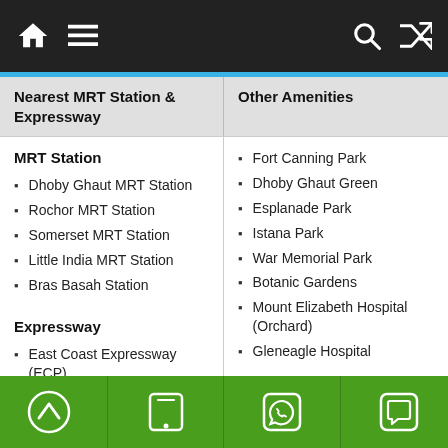Navigation bar with home, menu, search, and shuffle icons
| Nearest MRT Station & Expressway | Other Amenities |
| --- | --- |
| MRT Station
• Dhoby Ghaut MRT Station
• Rochor MRT Station
• Somerset MRT Station
• Little India MRT Station
• Bras Basah Station

Expressway
• East Coast Expressway (ECP) | • Fort Canning Park
• Dhoby Ghaut Green
• Esplanade Park
• Istana Park
• War Memorial Park
• Botanic Gardens
• Mount Elizabeth Hospital (Orchard)
• Gleneagle Hospital |
Green footer bar with up arrow, phone, WhatsApp, and chat icons